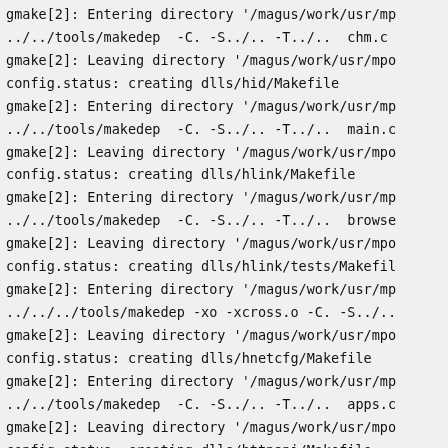gmake[2]: Entering directory '/magus/work/usr/mp
../../tools/makedep  -C. -S../.. -T../..  chm.c
gmake[2]: Leaving directory '/magus/work/usr/mpo
config.status: creating dlls/hid/Makefile
gmake[2]: Entering directory '/magus/work/usr/mp
../../tools/makedep  -C. -S../.. -T../..  main.c
gmake[2]: Leaving directory '/magus/work/usr/mpo
config.status: creating dlls/hlink/Makefile
gmake[2]: Entering directory '/magus/work/usr/mp
../../tools/makedep  -C. -S../.. -T../..  browse
gmake[2]: Leaving directory '/magus/work/usr/mpo
config.status: creating dlls/hlink/tests/Makefil
gmake[2]: Entering directory '/magus/work/usr/mp
../../../tools/makedep -xo -xcross.o -C. -S../.. 
gmake[2]: Leaving directory '/magus/work/usr/mpo
config.status: creating dlls/hnetcfg/Makefile
gmake[2]: Entering directory '/magus/work/usr/mp
../../tools/makedep  -C. -S../.. -T../..  apps.c
gmake[2]: Leaving directory '/magus/work/usr/mpo
config.status: creating dlls/httpapi/Makefile
gmake[2]: Entering directory '/magus/work/usr/mp
../../tools/makedep  -C. -S../.. -T../..  httpap
gmake[2]: Leaving directory '/magus/work/usr/mpo